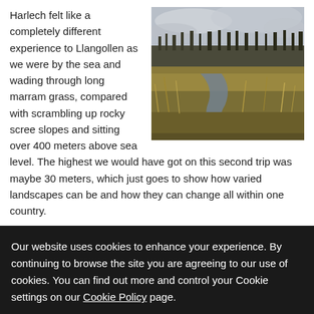[Figure (photo): Outdoor landscape photo showing a wetland or coastal marsh scene with long dry golden grass, a narrow water channel, and a treeline of bare winter trees under a grey overcast sky.]
Harlech felt like a completely different experience to Llangollen as we were by the sea and wading through long marram grass, compared with scrambling up rocky scree slopes and sitting over 400 meters above sea level. The highest we would have got on this second trip was maybe 30 meters, which just goes to show how varied landscapes can be and how they can change all within one country.
Our website uses cookies to enhance your experience. By continuing to browse the site you are agreeing to our use of cookies. You can find out more and control your Cookie settings on our Cookie Policy page.